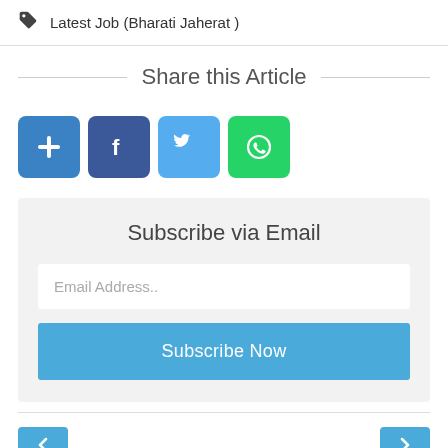Latest Job (Bharati Jaherat )
Share this Article
[Figure (other): Social sharing buttons: Add (+), Facebook (f), Twitter (bird), WhatsApp (phone in circle)]
Subscribe via Email
Email Address..
Subscribe Now
[Figure (other): Navigation left arrow button (blue)]
[Figure (other): Navigation right arrow button (blue)]